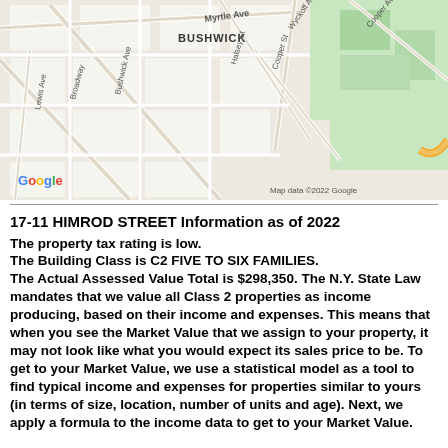[Figure (map): Google Maps screenshot showing Bushwick neighborhood in Brooklyn, NY with streets including Myrtle Ave, Broadway, Bushwick Ave, Lewis Ave, Wyckoff Ave, Halsey St, Cooper St, Cooper Ave, and a green park area. Shows 'Map data ©2022 Google' attribution.]
17-11 HIMROD STREET Information as of 2022
The property tax rating is low. The Building Class is C2 FIVE TO SIX FAMILIES. The Actual Assessed Value Total is $298,350. The N.Y. State Law mandates that we value all Class 2 properties as income producing, based on their income and expenses. This means that when you see the Market Value that we assign to your property, it may not look like what you would expect its sales price to be. To get to your Market Value, we use a statistical model as a tool to find typical income and expenses for properties similar to yours (in terms of size, location, number of units and age). Next, we apply a formula to the income data to get to your Market Value.